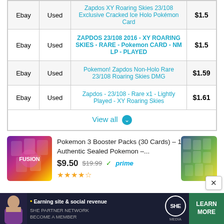| Source | Condition | Title | Price |
| --- | --- | --- | --- |
| Ebay | Used | Zapdos XY Roaring Skies 23/108 Exclusive Cracked Ice Holo Pokémon Card | $1.5 |
| Ebay | Used | ZAPDOS 23/108 2016 - XY ROARING SKIES - RARE - Pokemon CARD - NM LP - PLAYED | $1.5 |
| Ebay | Used | Pokemon! Zapdos Non-Holo Rare 23/108 Roaring Skies DMG | $1.59 |
| Ebay | Used | Zapdos - 23/108 - Rare x1 - Lightly Played - XY Roaring Skies | $1.61 |
View all
[Figure (photo): Pokemon 3 Booster Packs product image showing colorful booster pack cards]
Pokemon 3 Booster Packs (30 Cards) – 100% Authentic Sealed Pokemon –... $9.50 $19.99 prime (4.5 stars)
[Figure (photo): Second product image partially visible on the right side showing Pokemon cards]
[Figure (infographic): SHE Media advertisement banner: Earning site and social revenue - SHE Partner Network - Learn More - Become a Member]